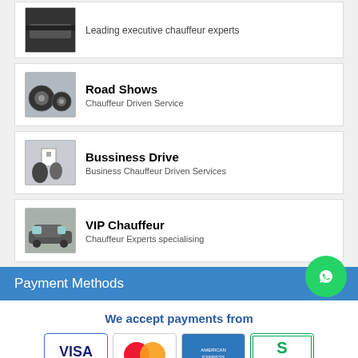Leading executive chauffeur experts
Road Shows
Chauffeur Driven Service
Bussiness Drive
Business Chauffeur Driven Services
VIP Chauffeur
Chauffeur Experts specialising
Payment Methods
We accept payments from
[Figure (other): Payment method logos: Visa, MasterCard, American Express, Switch, Maestro, Solo, Delta, Visa Electron]